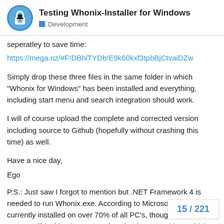Testing Whonix-Installer for Windows — Development
seperatley to save time:
https://mega.nz/#F!DBhlTYDb!E9k60kxf3tpbBjCtvaiDZw
Simply drop these three files in the same folder in which "Whonix for Windows" has been installed and everything, including start menu and search integration should work.
I will of course upload the complete and corrected version including source to Github (hopefully without crashing this time) as well.
Have a nice day,
Ego
P.S.: Just saw I forgot to mention but .NET Framework 4 is needed to run Whonix.exe. According to Microsoft, it is currently installed on over 70% of all PC's, though I'm of course still looking into ways of getting it to run with .N which has been included with every Windc